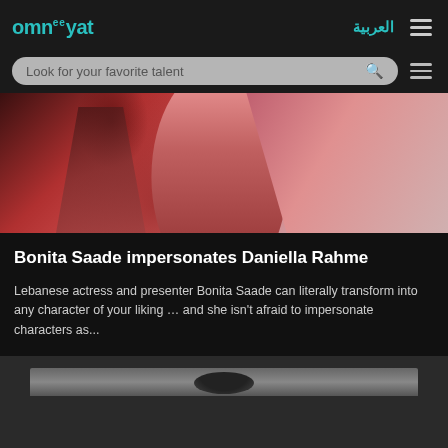omneeayat | العربية
Look for your favorite talent
[Figure (photo): A woman with long brown hair wearing a red outfit, photo cropped to show neck and lower face area]
Bonita Saade impersonates Daniella Rahme
Lebanese actress and presenter Bonita Saade can literally transform into any character of your liking … and she isn't afraid to impersonate characters as...
[Figure (photo): Bottom partial image of another article/person, dark hair visible]